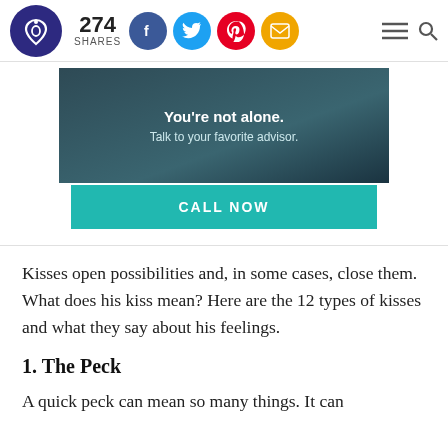274 SHARES
[Figure (other): Advertisement banner: dark teal background with text 'You're not alone. Talk to your favorite advisor.' and a teal CALL NOW button]
Kisses open possibilities and, in some cases, close them. What does his kiss mean? Here are the 12 types of kisses and what they say about his feelings.
1. The Peck
A quick peck can mean so many things. It can